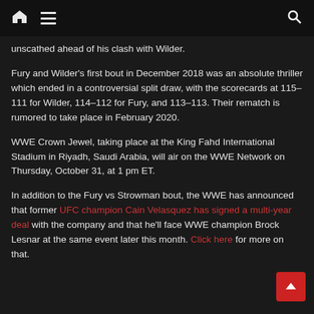Home | Menu | Search
unscathed ahead of his clash with Wilder.
Fury and Wilder's first bout in December 2018 was an absolute thriller which ended in a controversial split draw, with the scorecards at 115–111 for Wilder, 114–112 for Fury, and 113–113. Their rematch is rumored to take place in February 2020.
WWE Crown Jewel, taking place at the King Fahd International Stadium in Riyadh, Saudi Arabia, will air on the WWE Network on Thursday, October 31, at 1 pm ET.
In addition to the Fury vs Strowman bout, the WWE has announced that former UFC champion Cain Velasquez has signed a multi-year deal with the company and that he'll face WWE champion Brock Lesnar at the same event later this month. Click here for more on that.